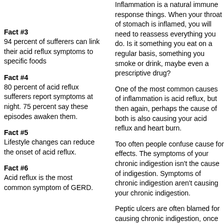Fact #3
94 percent of sufferers can link their acid reflux symptoms to specific foods
Fact #4
80 percent of acid reflux sufferers report symptoms at night. 75 percent say these episodes awaken them.
Fact #5
Lifestyle changes can reduce the onset of acid reflux.
Fact #6
Acid reflux is the most common symptom of GERD.
Inflammation is a natural immune response things. When your throat of stomach is inflamed, you will need to reassess everything you do. Is it something you eat on a regular basis, something you smoke or drink, maybe even a prescriptive drug?
One of the most common causes of inflammation is acid reflux, but then again, perhaps the cause of both is also causing your acid reflux and heart burn.
Too often people confuse cause for effects. The symptoms of your chronic indigestion isn't the cause of indigestion. Symptoms of chronic indigestion aren't causing your chronic indigestion.
Peptic ulcers are often blamed for causing chronic indigestion, once again you have to wonder, is your chronic indigestion causing your peptic ulcers? In which case whatever is causing your chronic indigestion is also the cause of your peptic ulcers.
Taking medication, especially pain killers will...
One more myth I have to bust here is that sp... indigestion . . . it's just untrue.